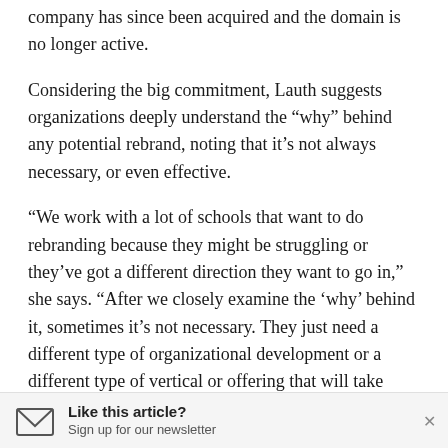company has since been acquired and the domain is no longer active.
Considering the big commitment, Lauth suggests organizations deeply understand the “why” behind any potential rebrand, noting that it’s not always necessary, or even effective.
“We work with a lot of schools that want to do rebranding because they might be struggling or they’ve got a different direction they want to go in,” she says. “After we closely examine the ‘why’ behind it, sometimes it’s not necessary. They just need a different type of organizational development or a different type of vertical or offering that will take them further then a rebrand would.”
Like this article?